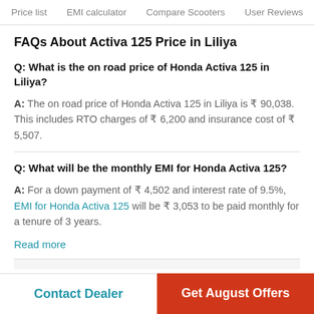Price list   EMI calculator   Compare Scooters   User Reviews
FAQs About Activa 125 Price in Liliya
Q: What is the on road price of Honda Activa 125 in Liliya?
A: The on road price of Honda Activa 125 in Liliya is ₹ 90,038. This includes RTO charges of ₹ 6,200 and insurance cost of ₹ 5,507.
Q: What will be the monthly EMI for Honda Activa 125?
A: For a down payment of ₹ 4,502 and interest rate of 9.5%, EMI for Honda Activa 125 will be ₹ 3,053 to be paid monthly for a tenure of 3 years.
Read more